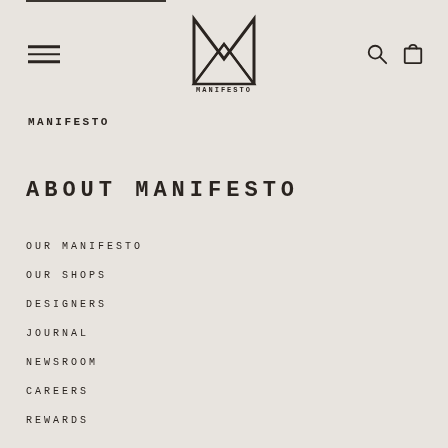[Figure (logo): Manifesto brand logo — stylized M with triangle forming an X shape, with MANIFESTO text below]
MANIFESTO
ABOUT MANIFESTO
OUR MANIFESTO
OUR SHOPS
DESIGNERS
JOURNAL
NEWSROOM
CAREERS
REWARDS